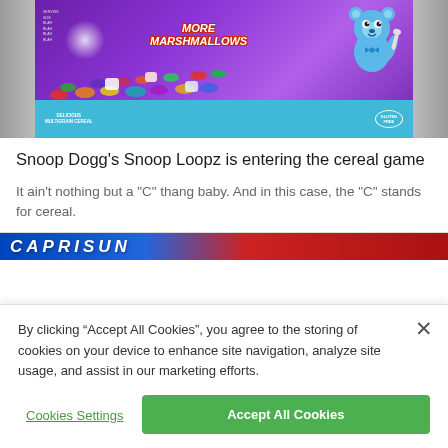[Figure (photo): Snoop Loopz cereal box with purple background, blue mascot character, colorful loops and marshmallows, 'More Marshmallows' text, blue bottom panel with 'Delicious Multigrain Cereal' and 'Gluten Free' badge]
Snoop Dogg's Snoop Loopz is entering the cereal game
It ain't nothing but a "C" thang baby. And in this case, the "C" stands for cereal.
[Figure (photo): Capri-Sun brand banner/strip with blue and red colors]
By clicking “Accept All Cookies”, you agree to the storing of cookies on your device to enhance site navigation, analyze site usage, and assist in our marketing efforts.